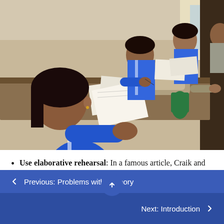[Figure (photo): Students in blue uniforms sitting at a long table studying, with books, papers, and bags spread out. A student in the foreground rests their chin on their hand while writing.]
Use elaborative rehearsal: In a famous article, Craik and Lockhart (1972) discussed their belief that information we process more deeply goes into long-term memory. Their theory is called levels of
← Previous: Problems with Memory
Next: Introduction →